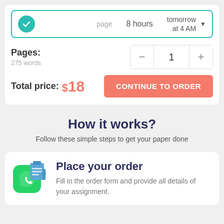[Figure (screenshot): Order bar with teal check circle, 'page', '8 hours', 'tomorrow at 4 AM' with dropdown arrow]
Pages:
275 words
[Figure (infographic): Numeric counter showing minus, 1, plus]
Total price: $18
CONTINUE TO ORDER
How it works?
Follow these simple steps to get your paper done
Place your order
Fill in the order form and provide all details of your assignment.